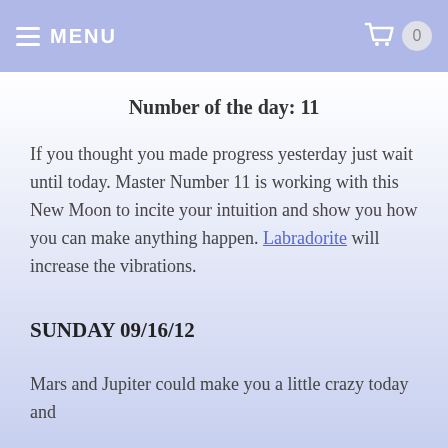≡ MENU  [cart] 0
Number of the day:  11
If you thought you made progress yesterday just wait until today.  Master Number 11 is working with this New Moon to incite your intuition and show you how you can make anything happen. Labradorite will increase the vibrations.
SUNDAY 09/16/12
Mars and Jupiter could make you a little crazy today and